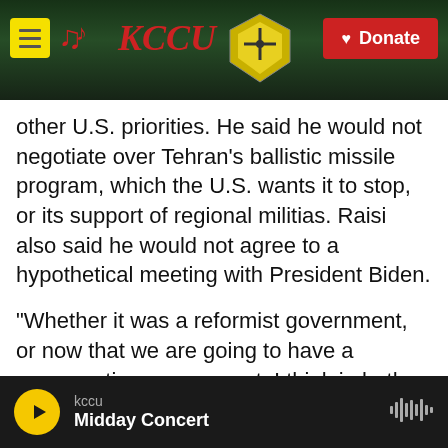[Figure (screenshot): KCCU radio station website header with logo, shield emblem, and red Donate button over a dark background photo]
other U.S. priorities. He said he would not negotiate over Tehran's ballistic missile program, which the U.S. wants it to stop, or its support of regional militias. Raisi also said he would not agree to a hypothetical meeting with President Biden.
"Whether it was a reformist government, or now that we are going to have a conservative government, I think in both scenarios and cases we would see an administration complying and implementing the deal and complying with the terms," said Abas Aslani, senior research fellow at the Center for Middle East Strategic Studies.
kccu — Midday Concert